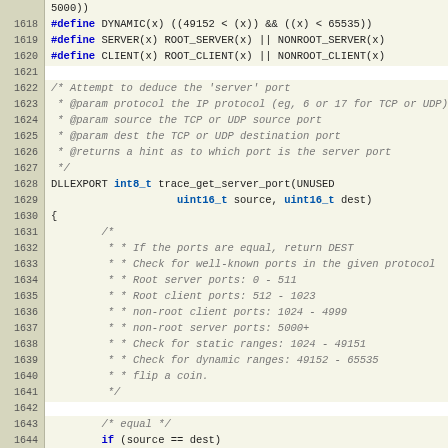Source code listing, lines 1618-1646, C language code for trace_get_server_port function